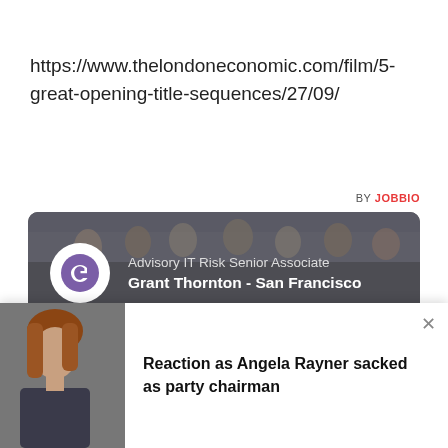https://www.thelondoneconomic.com/film/5-great-opening-title-sequences/27/09/
BY JOBBIO
[Figure (screenshot): Job listing card for Advisory IT Risk Senior Associate at Grant Thornton - San Francisco, with group photo background and Grant Thornton logo]
[Figure (screenshot): Job listing card for Ecommerce Governance - Product Risk Management Strategy Operation with TikTok logo and group photo background]
[Figure (photo): Notification overlay showing Angela Rayner photo with headline: Reaction as Angela Rayner sacked as party chairman]